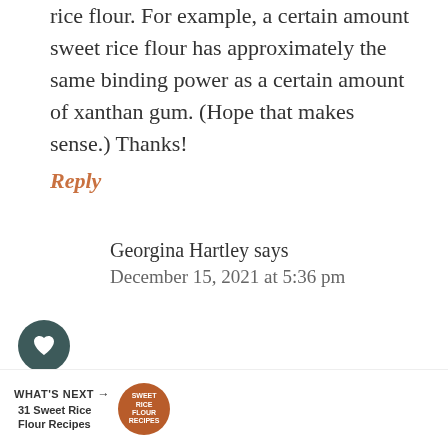rice flour. For example, a certain amount sweet rice flour has approximately the same binding power as a certain amount of xanthan gum. (Hope that makes sense.) Thanks!
Reply
Georgina Hartley says
December 15, 2021 at 5:36 pm
Hi Tanya, it's a great question but I don't actually sub out the xanthan gum for rice flour. I just don't use xanthan gum. I know it's not a terribly helpful answer but xanthan gum is not something